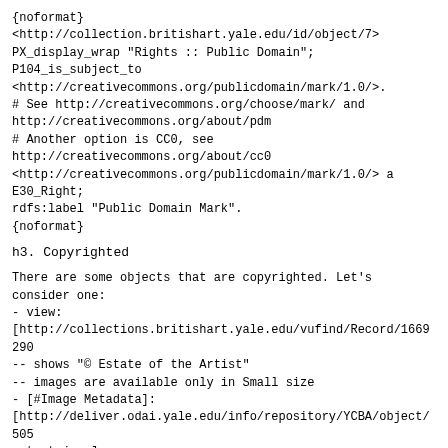{noformat}
<http://collection.britishart.yale.edu/id/object/7>
PX_display_wrap "Rights :: Public Domain";
P104_is_subject_to
<http://creativecommons.org/publicdomain/mark/1.0/>.
# See http://creativecommons.org/choose/mark/ and
http://creativecommons.org/about/pdm
# Another option is CC0, see
http://creativecommons.org/about/cc0
<http://creativecommons.org/publicdomain/mark/1.0/> a
E30_Right;
rdfs:label "Public Domain Mark".
{noformat}
h3. Copyrighted
There are some objects that are copyrighted. Let's
consider one:
- view:
[http://collections.britishart.yale.edu/vufind/Record/1669290
-- shows "© Estate of the Artist"
-- images are available only in Small size
- [#Image Metadata]:
[http://deliver.odai.yale.edu/info/repository/YCBA/object/505
output=json]
-- webStatement and usageTerms are the same as for Public
Domain. It was explained: "YCBA makes no assertion of
copyright nor any denial of copyright we may have in our
photograph/digital image of the underlying artwork". But
YCBA restricts to Small size images only
-- images are available only in Small size (format/1). As
the policy explains: "Thumbnail-sized images of